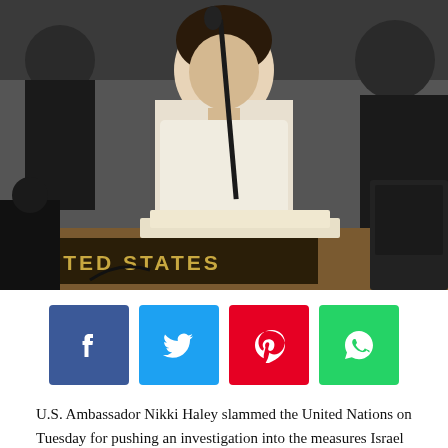[Figure (photo): U.S. Ambassador Nikki Haley seated at the United Nations Security Council behind a 'UNITED STATES' nameplate with a microphone in front of her]
[Figure (infographic): Social media sharing buttons: Facebook (blue), Twitter (light blue), Pinterest (red), WhatsApp (green)]
U.S. Ambassador Nikki Haley slammed the United Nations on Tuesday for pushing an investigation into the measures Israel took to secure its border during violent clashes with Hamas-backed insurgents earlier this week. After she concluded her speech, she walked out of the chamber when a Palestinian representative began to speak.
For months, Palestinians have been protesting along the Gaza-Israeli border in objection to Israel's 70 years in